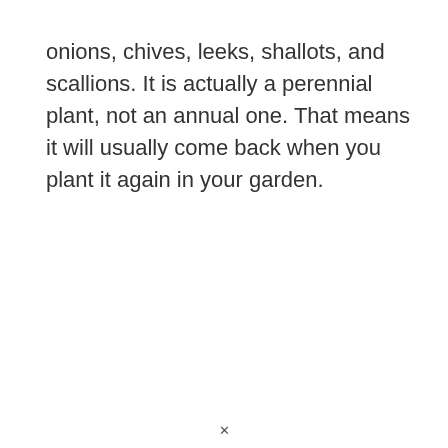onions, chives, leeks, shallots, and scallions. It is actually a perennial plant, not an annual one. That means it will usually come back when you plant it again in your garden.